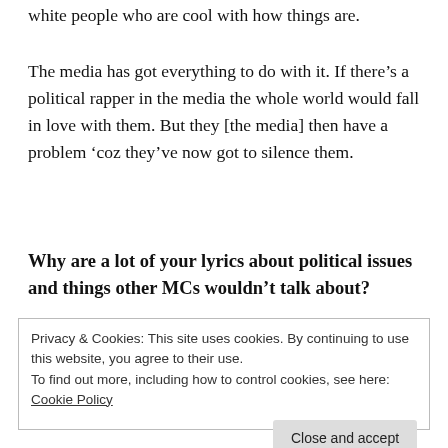white people who are cool with how things are.
The media has got everything to do with it. If there's a political rapper in the media the whole world would fall in love with them. But they [the media] then have a problem 'coz they've now got to silence them.
Why are a lot of your lyrics about political issues and things other MCs wouldn't talk about?
Privacy & Cookies: This site uses cookies. By continuing to use this website, you agree to their use.
To find out more, including how to control cookies, see here: Cookie Policy
Close and accept